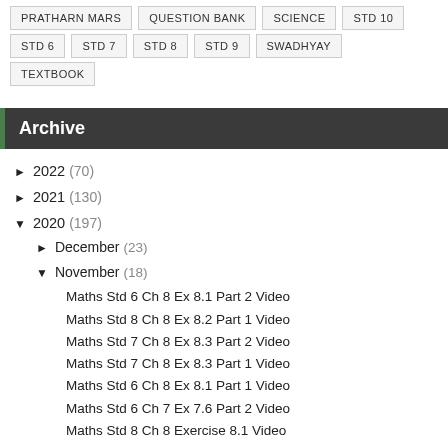PRATHARN MARS
QUESTION BANK
SCIENCE
STD 10
STD 6
STD 7
STD 8
STD 9
SWADHYAY
TEXTBOOK
Archive
► 2022 (70)
► 2021 (130)
▼ 2020 (197)
► December (23)
▼ November (18)
Maths Std 6 Ch 8 Ex 8.1 Part 2 Video
Maths Std 8 Ch 8 Ex 8.2 Part 1 Video
Maths Std 7 Ch 8 Ex 8.3 Part 2 Video
Maths Std 7 Ch 8 Ex 8.3 Part 1 Video
Maths Std 6 Ch 8 Ex 8.1 Part 1 Video
Maths Std 6 Ch 7 Ex 7.6 Part 2 Video
Maths Std 8 Ch 8 Exercise 8.1 Video